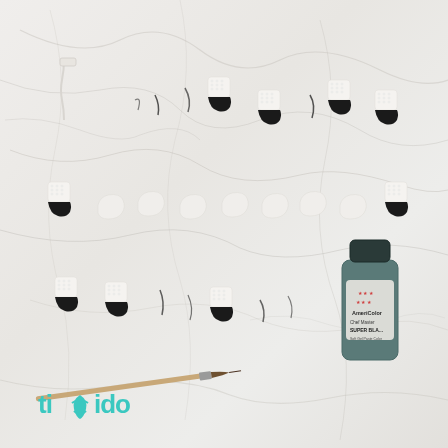[Figure (photo): Overhead view of miniature sugar ballet shoes in various stages of completion arranged on a white marble surface. Some shoes are plain white fondant, some have textured white tops and black painted bottoms. A thin artist's paintbrush and a bottle of Americana 'Super Black' acrylic paint are visible in the bottom right area. A tiki-do brand logo appears in teal/turquoise in the bottom left corner.]